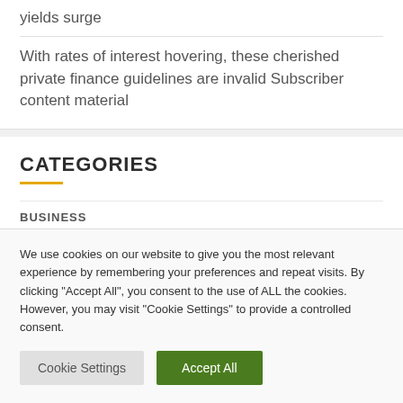yields surge
With rates of interest hovering, these cherished private finance guidelines are invalid Subscriber content material
CATEGORIES
BUSINESS
We use cookies on our website to give you the most relevant experience by remembering your preferences and repeat visits. By clicking “Accept All”, you consent to the use of ALL the cookies. However, you may visit “Cookie Settings” to provide a controlled consent.